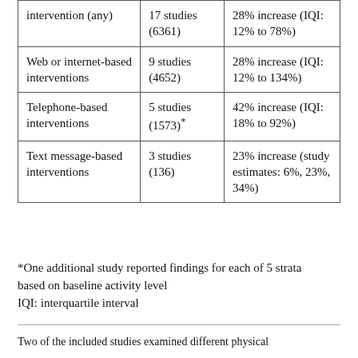| intervention (any) | 17 studies (6361) | 28% increase (IQI: 12% to 78%) |
| Web or internet-based interventions | 9 studies (4652) | 28% increase (IQI: 12% to 134%) |
| Telephone-based interventions | 5 studies (1573)* | 42% increase (IQI: 18% to 92%) |
| Text message-based interventions | 3 studies (136) | 23% increase (study estimates: 6%, 23%, 34%) |
*One additional study reported findings for each of 5 strata based on baseline activity level
IQI: interquartile interval
Two of the included studies examined different physical